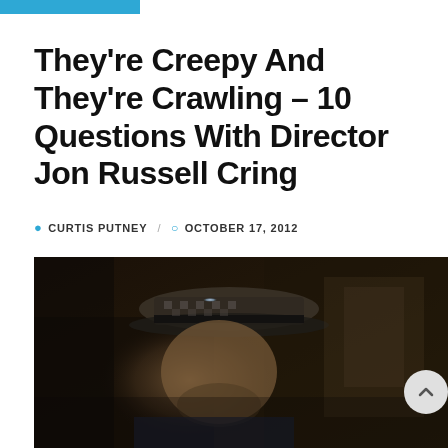They're Creepy And They're Crawling – 10 Questions With Director Jon Russell Cring
CURTIS PUTNEY / OCTOBER 17, 2012
[Figure (photo): Dark photograph of a man wearing a checkered fedora hat, looking upward, in a dimly lit indoor setting]